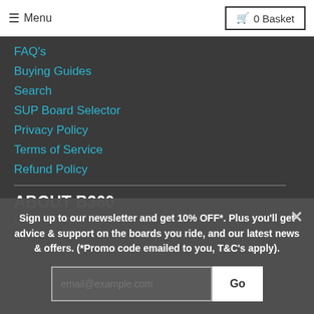Menu | 0 Basket
FAQ's
Buying Guides
Search
SUP Board Selector
Privacy Policy
Terms of Service
Refund Policy
ABOUT B360
Learn more about us
Sign up to our newsletter and get 10% OFF*. Plus you'll get advice & support on the boards you ride, and our latest news & offers. (*Promo code emailed to you, T&C's apply).